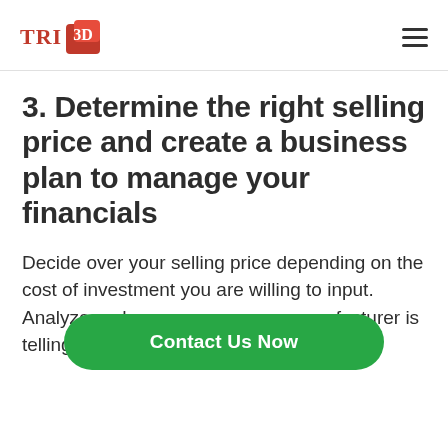TRI3D
3. Determine the right selling price and create a business plan to manage your financials
Decide over your selling price depending on the cost of investment you are willing to input. Analyze and compare what the manufacturer is telling you to buy the
Contact Us Now